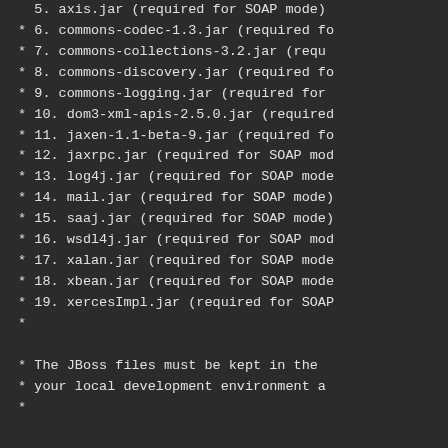5. axis.jar (required for SOAP mode)
* 6. commons-codec-1.3.jar (required fo
* 7. commons-collections-3.2.jar (requ
* 8. commons-discovery.jar (required fo
* 9. commons-logging.jar (required for
* 10. dom3-xml-apis-2.5.0.jar (required
* 11. jaxen-1.1-beta-9.jar (required fo
* 12. jaxrpc.jar (required for SOAP mod
* 13. log4j.jar (required for SOAP mode
* 14. mail.jar (required for SOAP mode)
* 15. saaj.jar (required for SOAP mode)
* 16. wsdl4j.jar (required for SOAP mod
* 17. xalan.jar (required for SOAP mode
* 18. xbean.jar (required for SOAP mode
* 19. xercesImpl.jar (required for SOAP
*
* The JBoss files must be kept in the
* your local development environment a
*